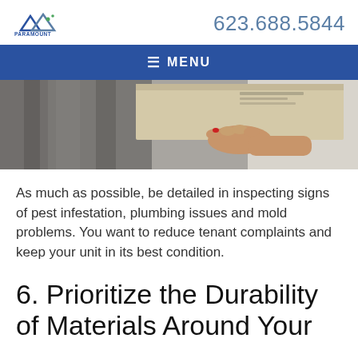PARAMOUNT MANAGEMENT & REALTY — 623.688.5844
[Figure (screenshot): Blue navigation bar with menu icon and MENU text]
[Figure (photo): Person's hand with red nail polish lifting a cardboard box, blurred background with plaid pattern]
As much as possible, be detailed in inspecting signs of pest infestation, plumbing issues and mold problems. You want to reduce tenant complaints and keep your unit in its best condition.
6. Prioritize the Durability of Materials Around Your